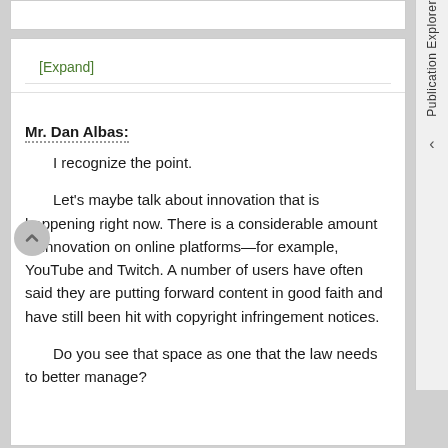[Expand]
Mr. Dan Albas:
I recognize the point.
Let's maybe talk about innovation that is happening right now. There is a considerable amount of innovation on online platforms—for example, YouTube and Twitch. A number of users have often said they are putting forward content in good faith and have still been hit with copyright infringement notices.
Do you see that space as one that the law needs to better manage?